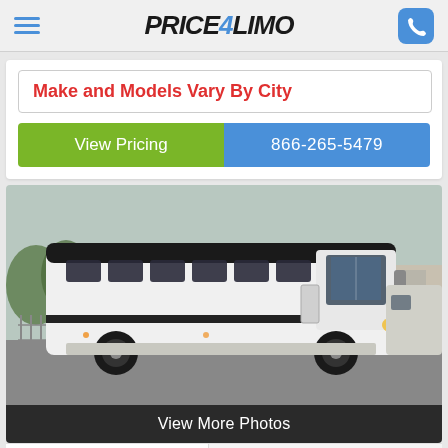Price4Limo
Make and Models Vary By City
View Pricing
866-265-5479
[Figure (photo): White charter bus/motor coach parked in a lot, viewed from the side-front angle. Black tinted windows along the side. Another bus visible in background.]
View More Photos
47 Passenger
Leave a message